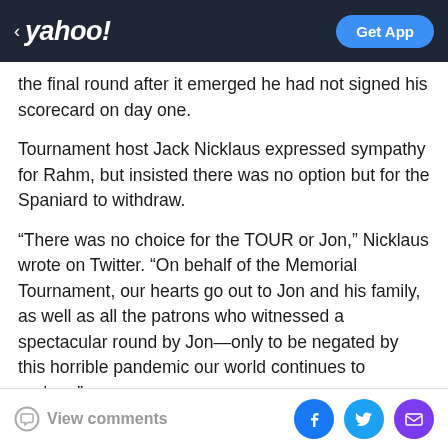yahoo! Get App
the final round after it emerged he had not signed his scorecard on day one.
Tournament host Jack Nicklaus expressed sympathy for Rahm, but insisted there was no option but for the Spaniard to withdraw.
“There was no choice for the TOUR or Jon,” Nicklaus wrote on Twitter. “On behalf of the Memorial Tournament, our hearts go out to Jon and his family, as well as all the patrons who witnessed a spectacular round by Jon—only to be negated by this horrible pandemic our world continues to endure.”
View comments